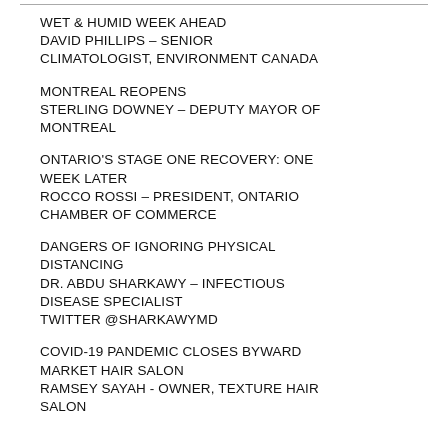WET & HUMID WEEK AHEAD
DAVID PHILLIPS – SENIOR CLIMATOLOGIST, ENVIRONMENT CANADA
MONTREAL REOPENS
STERLING DOWNEY – DEPUTY MAYOR OF MONTREAL
ONTARIO'S STAGE ONE RECOVERY: ONE WEEK LATER
ROCCO ROSSI – PRESIDENT, ONTARIO CHAMBER OF COMMERCE
DANGERS OF IGNORING PHYSICAL DISTANCING
DR. ABDU SHARKAWY – INFECTIOUS DISEASE SPECIALIST
TWITTER @SharkawyMD
COVID-19 PANDEMIC CLOSES BYWARD MARKET HAIR SALON
RAMSEY SAYAH - OWNER, TEXTURE HAIR SALON